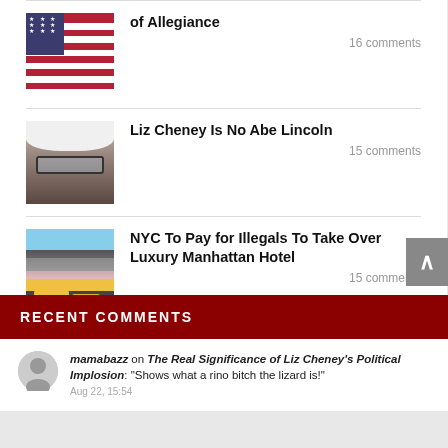of Allegiance — 16 comments
Liz Cheney Is No Abe Lincoln — 15 comments
NYC To Pay for Illegals To Take Over Luxury Manhattan Hotel — 15 comments
RECENT COMMENTS
mamabazz on The Real Significance of Liz Cheney's Political Implosion: "Shows what a rino bitch the lizard is!"